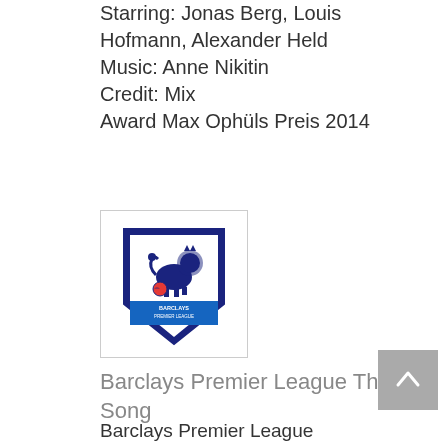Starring: Jonas Berg, Louis Hofmann, Alexander Held
Music: Anne Nikitin
Credit: Mix
Award Max Ophüls Preis 2014
[Figure (logo): Barclays Premier League shield logo with lion and football]
Barclays Premier League Theme Song
Barclays Premier League Anthem: Gloria
By David Hodson Lowe, Martin Brammer and Simon Darlow
Credit: Mix
2014